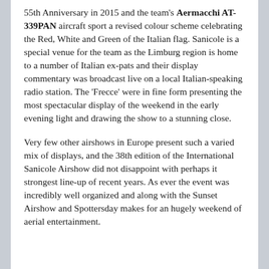55th Anniversary in 2015 and the team's Aermacchi AT-339PAN aircraft sport a revised colour scheme celebrating the Red, White and Green of the Italian flag. Sanicole is a special venue for the team as the Limburg region is home to a number of Italian ex-pats and their display commentary was broadcast live on a local Italian-speaking radio station. The 'Frecce' were in fine form presenting the most spectacular display of the weekend in the early evening light and drawing the show to a stunning close.
Very few other airshows in Europe present such a varied mix of displays, and the 38th edition of the International Sanicole Airshow did not disappoint with perhaps it strongest line-up of recent years. As ever the event was incredibly well organized and along with the Sunset Airshow and Spottersday makes for an hugely weekend of aerial entertainment.